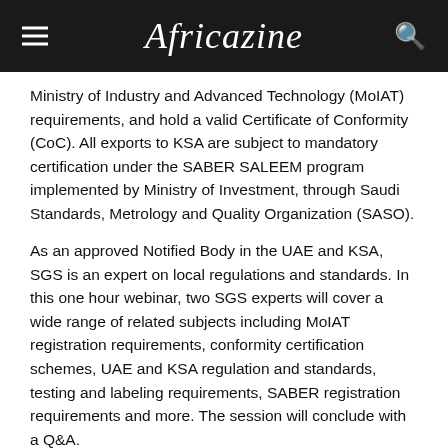Africazine
Ministry of Industry and Advanced Technology (MoIAT) requirements, and hold a valid Certificate of Conformity (CoC). All exports to KSA are subject to mandatory certification under the SABER SALEEM program implemented by Ministry of Investment, through Saudi Standards, Metrology and Quality Organization (SASO).
As an approved Notified Body in the UAE and KSA, SGS is an expert on local regulations and standards. In this one hour webinar, two SGS experts will cover a wide range of related subjects including MoIAT registration requirements, conformity certification schemes, UAE and KSA regulation and standards, testing and labeling requirements, SABER registration requirements and more. The session will conclude with a Q&A.